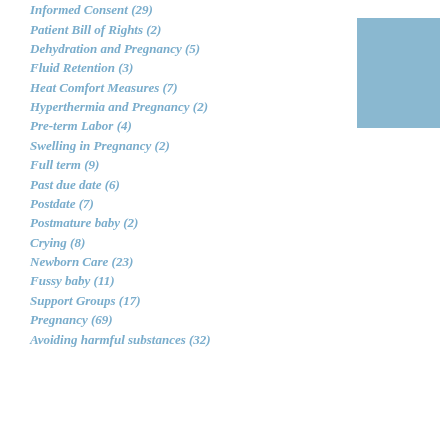Informed Consent (29)
Patient Bill of Rights (2)
Dehydration and Pregnancy (5)
Fluid Retention (3)
Heat Comfort Measures (7)
Hyperthermia and Pregnancy (2)
Pre-term Labor (4)
Swelling in Pregnancy (2)
Full term (9)
Past due date (6)
Postdate (7)
Postmature baby (2)
Crying (8)
Newborn Care (23)
Fussy baby (11)
Support Groups (17)
Pregnancy (69)
Avoiding harmful substances (32)
[Figure (other): Blue rectangle decorative box in upper right corner]